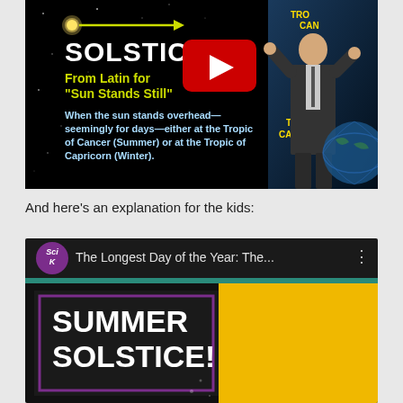[Figure (screenshot): YouTube video thumbnail showing a dark space background with a sun and arrow graphic, the word SOLSTICE in white, subtitle 'From Latin for "Sun Stands Still"' in yellow, explanatory text in light blue, a YouTube play button overlay, and a presenter in a suit next to a globe with 'Tropic of Cancer' and 'Tropic of Capricorn' labels]
And here's an explanation for the kids:
[Figure (screenshot): YouTube video thumbnail for 'The Longest Day of the Year: The...' by SciK channel, showing a chalkboard-style graphic with 'SUMMER SOLSTICE!' in white bold text on a dark background bordered by purple, alongside a yellow panel, with a teal progress bar at top]